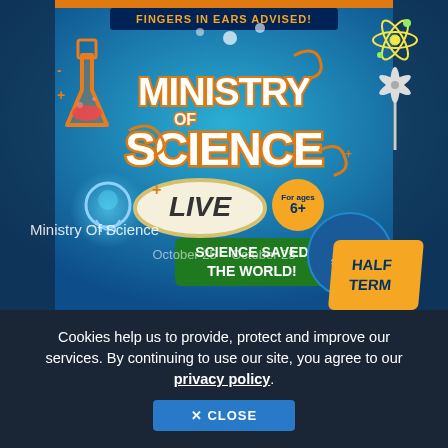[Figure (illustration): Ministry Of Science Live promotional poster/screenshot with colorful science-themed imagery including flasks, light bulbs, atoms, wind turbines. Features text 'FINGERS IN EARS ADVISED!', 'MINISTRY OF SCIENCE', 'LIVE', 'SCIENCE SAVED THE WORLD!', 'For ages 6+', 'HALF TERM' on a blue background.]
Ministry Of Science
October 25 - October 25
Cookies help us to provide, protect and improve our services. By continuing to use our site, you agree to our privacy policy.
✕ CLOSE